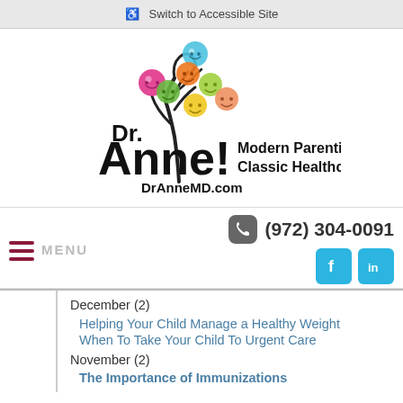Switch to Accessible Site
[Figure (logo): Dr. Anne! Modern Parenting, Classic Healthcare. DrAnneMD.com logo with colorful smiley face tree]
MENU  (972) 304-0091
December (2)
Helping Your Child Manage a Healthy Weight
When To Take Your Child To Urgent Care
November (2)
The Importance of Immunizations